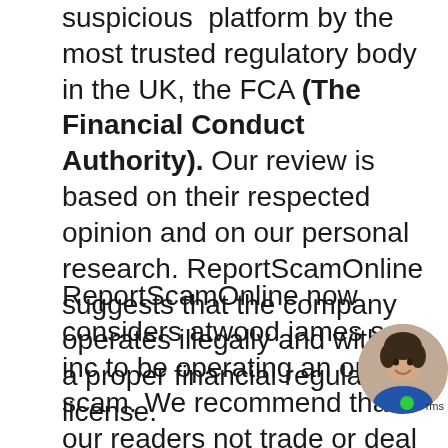suspicious platform by the most trusted regulatory body in the UK, the FCA (The Financial Conduct Authority). Our review is based on their respected opinion and on our personal research. ReportScamOnline suggests that the company operates illegally and without a proper financial regulatory license.
ReportScamOnline now considers atwood james sa inc to be operating an online scam. We recommend that our readers not trade or deal with atwood james sa inc and if you have an open account or agreement with this company, we suggest you try to withdraw your funds as soon as possible
How to Report a S...